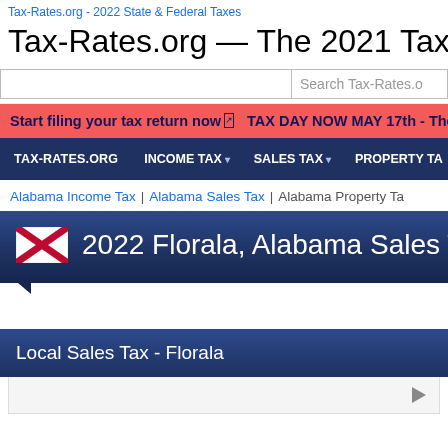Tax-Rates.org - 2022 State & Federal Taxes
Tax-Rates.org — The 2021 Tax Resource
Search Tax-Rates.o
Start filing your tax return now ↗   TAX DAY NOW MAY 17th - Ther
TAX-RATES.ORG   INCOME TAX ▾   SALES TAX ▾   PROPERTY TA
Alabama Income Tax | Alabama Sales Tax | Alabama Property Ta
2022 Florala, Alabama Sales Tax
Local Sales Tax - Florala